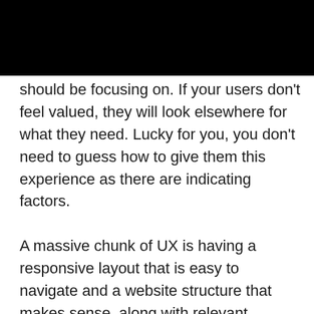[Figure (other): Black banner/header bar at top of page]
should be focusing on. If your users don't feel valued, they will look elsewhere for what they need. Lucky for you, you don't need to guess how to give them this experience as there are indicating factors.

A massive chunk of UX is having a responsive layout that is easy to navigate and a website structure that makes sense, along with relevant content that answers the questions they're asking. This matters a lot: 38% of people will cease engagements with a website if content is not helpful or...